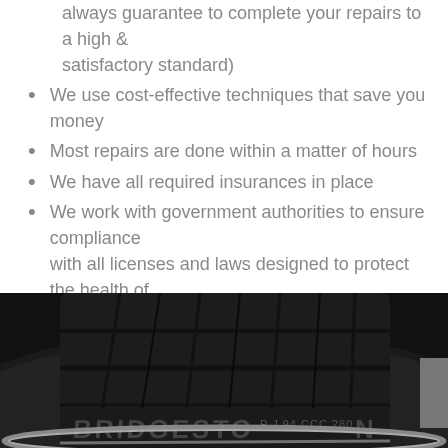always guarantee to complete your repairs to a high & satisfactory standard)
We use cost-effective techniques that save you money
Most repairs are done within a matter of hours
We have all required insurances in place
We work with government authorities to ensure compliance with all licenses and laws designed to protect the health of our Technicians and our customers as well as the environment
We offer a range of car repair and additional services that you can take advantage of while we're there to repair your mag wheels
[Figure (photo): Close-up photo of a Bridgestone tire tread showing the tire markings and rim edge]